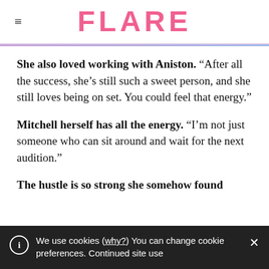FLARE
She also loved working with Aniston. “After all the success, she’s still such a sweet person, and she still loves being on set. You could feel that energy.”
Mitchell herself has all the energy. “I’m not just someone who can sit around and wait for the next audition.”
The hustle is so strong she somehow found
We use cookies (why?) You can change cookie preferences. Continued site use